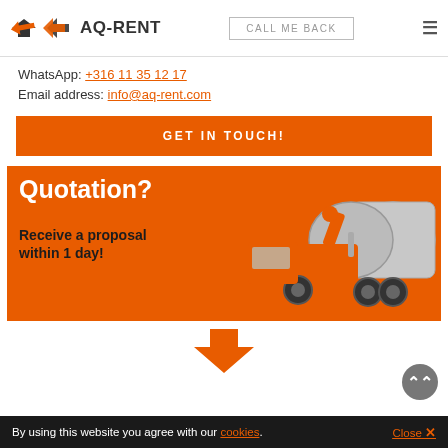AQ-RENT | CALL ME BACK
WhatsApp: +316 11 35 12 17
Email address: info@aq-rent.com
GET IN TOUCH!
[Figure (photo): Orange AQ-RENT banner with text 'Quotation? Receive a proposal within 1 day!' and an image of an orange industrial vacuum/suction truck]
[Figure (infographic): Orange downward arrow]
By using this website you agree with our cookies. Close ✕